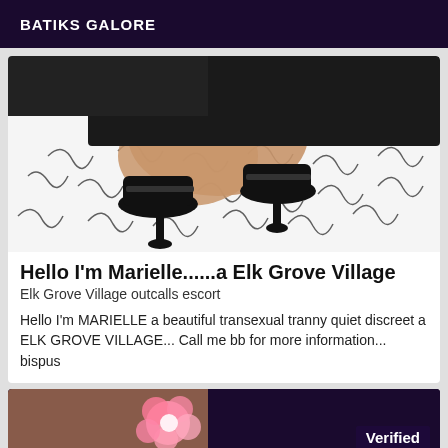BATIKS GALORE
[Figure (photo): Photo of legs in black high heels on a black and white patterned fabric/bedsheet]
Hello I'm Marielle......a Elk Grove Village
Elk Grove Village outcalls escort
Hello I'm MARIELLE a beautiful transexual tranny quiet discreet a ELK GROVE VILLAGE... Call me bb for more information... bispus
[Figure (photo): Partial photo with pink flower visible, dark background, with 'Verified' badge overlay]